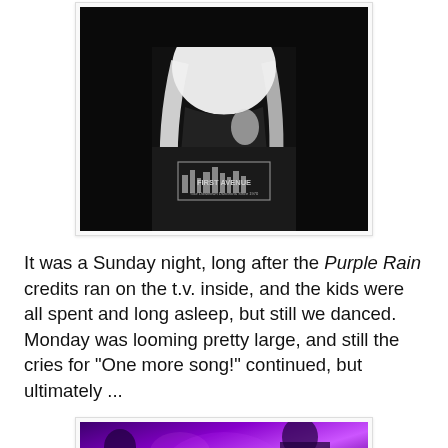[Figure (photo): Black and white photo of a blonde woman wearing a dark First Avenue sweatshirt with city skyline graphic and text 'Your Downtown Dancearia Since 1970']
It was a Sunday night, long after the Purple Rain credits ran on the t.v. inside, and the kids were all spent and long asleep, but still we danced. Monday was looming pretty large, and still the cries for "One more song!" continued, but ultimately ...
[Figure (photo): Color photo with purple and magenta lighting, partial view of people in a dimly lit room]